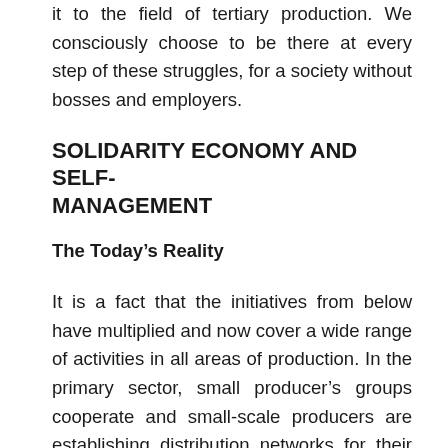it to the field of tertiary production. We consciously choose to be there at every step of these struggles, for a society without bosses and employers.
SOLIDARITY ECONOMY AND SELF-MANAGEMENT
The Today’s Reality
It is a fact that the initiatives from below have multiplied and now cover a wide range of activities in all areas of production. In the primary sector, small producer’s groups cooperate and small-scale producers are establishing distribution networks for their products, having as goal the quality and, to a certain extent, the low price. The squeezing of the market, with the intermediaries taking